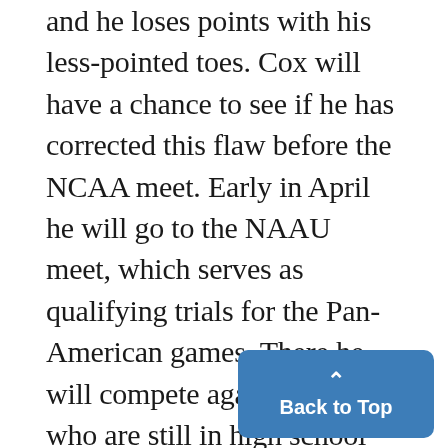and he loses points with his less-pointed toes. Cox will have a chance to see if he has corrected this flaw before the NCAA meet. Early in April he will go to the NAAU meet, which serves as qualifying trials for the Pan-American games. There he will compete against divers who are still in high school and divers who are 30 years old. But Vitucci, Vogel and Gilbert will also be there, along with Bob Webster, an Olympic